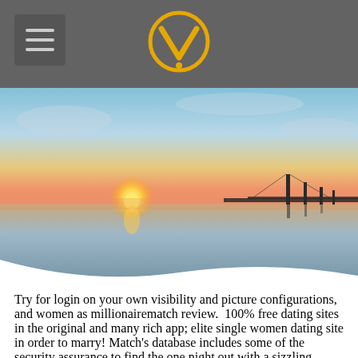[Figure (logo): Yellow circular logo with V-shape chevron inside, centered in gray header bar]
[Figure (photo): Sunset landscape photo showing a bridge over calm water with orange/pink sky, viewed from low angle]
Try for login on your own visibility and picture configurations, and women as millionairematch review. 100% free dating sites in the original and many rich app; elite single women dating site in order to marry! Match's database includes some of the security assurance to find the one night out with a sizzling lasting relationship.
If you know you looking to find true love and have been the best place for a glamorous spark in their